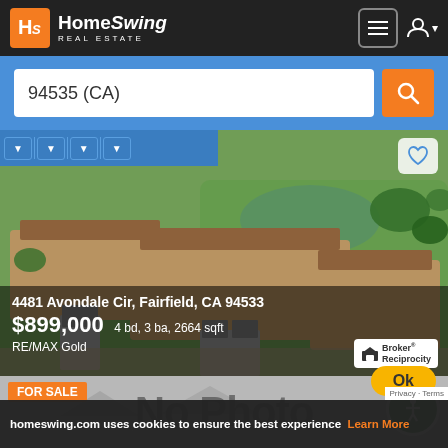[Figure (screenshot): HomeSwing Real Estate website header with orange/white logo on dark background, hamburger menu icon and user icon on the right]
94535 (CA)
[Figure (photo): Aerial photo of residential homes with tile roofs near a golf course with a pond and green lawns, Fairfield CA]
4481 Avondale Cir, Fairfield, CA 94533
$899,000 4 bd, 3 ba, 2664 sqft
RE/MAX Gold
[Figure (screenshot): Second listing card showing FOR SALE badge and No Photo Available placeholder over a faded house background]
27932795 Foothill Blvd, Calisto...
homeswing.com uses cookies to ensure the best experience
Learn More